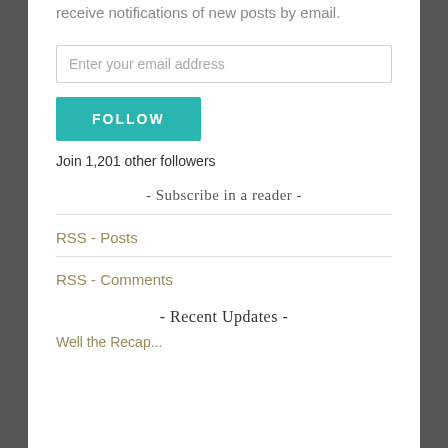receive notifications of new posts by email.
[Figure (other): Email input field with placeholder text 'Enter your email address']
[Figure (other): Teal FOLLOW button]
Join 1,201 other followers
- Subscribe in a reader -
RSS - Posts
RSS - Comments
- Recent Updates -
Well the Recap...